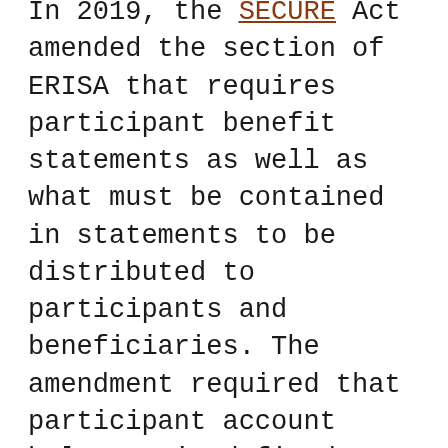In 2019, the SECURE Act amended the section of ERISA that requires participant benefit statements as well as what must be contained in statements to be distributed to participants and beneficiaries. The amendment required that participant account balances in defined contribution plans be expressed as both a life annuity and a qualified joint and survivor annuity (QJSA), in addition to the other mandated disclosures. The intent was to better inform participants on the options of